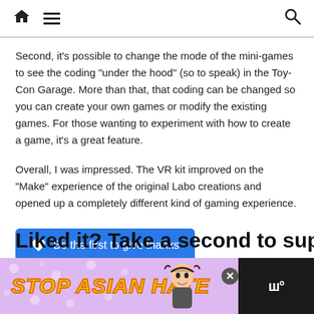Home | Menu | Search
Second, it's possible to change the mode of the mini-games to see the coding “under the hood” (so to speak) in the Toy-Con Garage. More than that, that coding can be changed so you can create your own games or modify the existing games. For those wanting to experiment with how to create a game, it’s a great feature.
Overall, I was impressed. The VR kit improved on the “Make” experience of the original Labo creations and opened up a completely different kind of gaming experience.
Be the first to give thanks
Liked it? Take a second to support
[Figure (infographic): Stop Asian Hate advertisement banner with purple floral background, bold yellow italic text, anime character, close button, and dark right panel.]